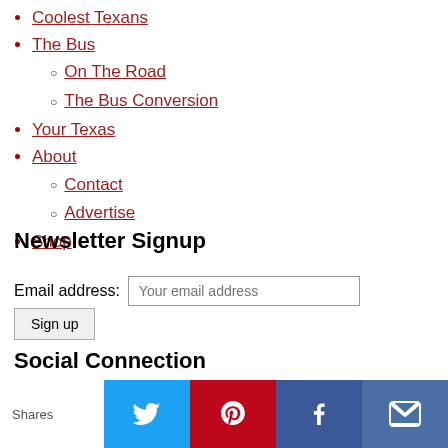Coolest Texans
The Bus
On The Road
The Bus Conversion
Your Texas
About
Contact
Advertise
Shop
Newsletter Signup
Email address: Your email address
Sign up
Social Connection
Copyright © 2017 Coolest Stuff in Texas, LLC | All rights reserved.
Shares